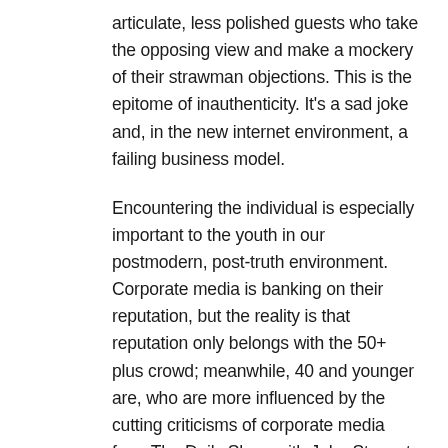articulate, less polished guests who take the opposing view and make a mockery of their strawman objections. This is the epitome of inauthenticity. It's a sad joke and, in the new internet environment, a failing business model.
Encountering the individual is especially important to the youth in our postmodern, post-truth environment. Corporate media is banking on their reputation, but the reality is that reputation only belongs with the 50+ plus crowd; meanwhile, 40 and younger are, who are more influenced by the cutting criticisms of corporate media from The Daily Show with John Stewart and the Colbert Report, are searching for new figures to trust. The ideas and ideologies are second.